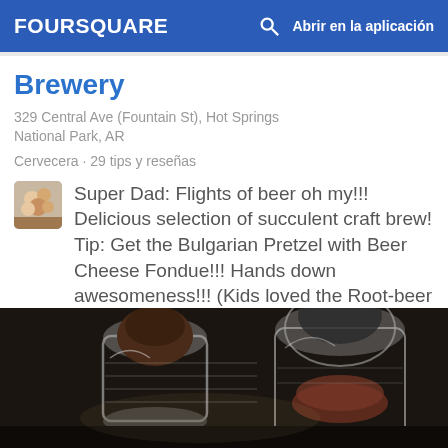FOURSQUARE  Abrir en la aplicación
Brewery
329 Central Ave (Fountain St), Hot Springs National Park, AR
Cervecera · 29 tips y reseñas
Super Dad: Flights of beer oh my!!! Delicious selection of succulent craft brew! Tip: Get the Bulgarian Pretzel with Beer Cheese Fondue!!! Hands down awesomeness!!! (Kids loved the Root-beer Float)
[Figure (photo): Photo of glass jars/dispensers on a dark surface at a brewery]